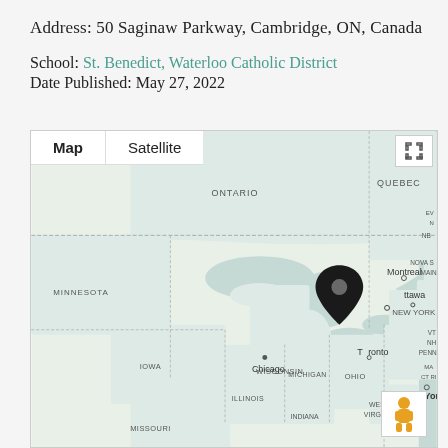Address: 50 Saginaw Parkway, Cambridge, ON, Canada
School: St. Benedict, Waterloo Catholic District
Date Published: May 27, 2022
[Figure (map): Google Maps view centered on Cambridge/Toronto area in Ontario, Canada, with a black map pin marker near Toronto/Cambridge. Shows surrounding US and Canadian regions including Quebec, Minnesota, Wisconsin, Michigan, Illinois, Indiana, Ohio, New York, Maine, New Brunswick, Nova Scotia. Labels include Ottawa, Montreal, Chicago, New York, Toronto. Map/Satellite toggle buttons visible at top left, fullscreen icon top right, and pegman icon bottom right.]